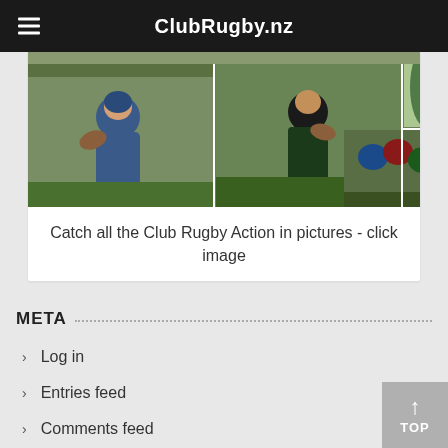ClubRugby.nz
[Figure (photo): Collage of club rugby action photos showing players in various match situations including a scrum, line breaks, and ball carrying.]
Catch all the Club Rugby Action in pictures - click image
META
Log in
Entries feed
Comments feed
WordPress.org